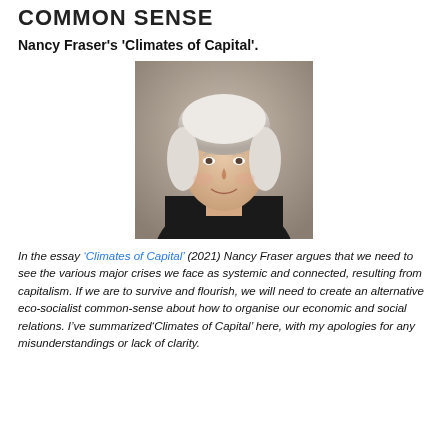COMMON SENSE
Nancy Fraser's 'Climates of Capital'.
[Figure (photo): Portrait photo of Nancy Fraser, a woman with short white/silver hair, smiling, wearing a dark jacket, against a blurred brown background.]
In the essay 'Climates of Capital' (2021) Nancy Fraser argues that we need to see the various major crises we face as systemic and connected, resulting from capitalism. If we are to survive and flourish, we will need to create an alternative eco-socialist common-sense about how to organise our economic and social relations. I've summarized'Climates of Capital' here, with my apologies for any misunderstandings or lack of clarity.